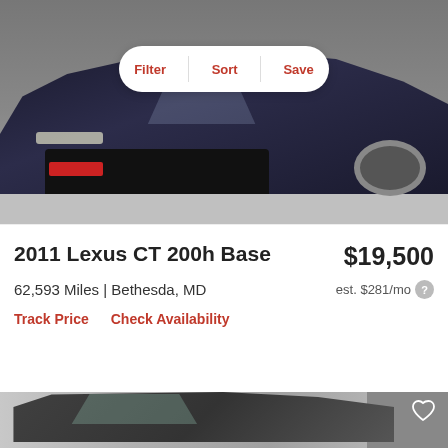[Figure (photo): Front view of a dark blue Lexus car photographed from the front, with a toolbar overlay showing Filter, Sort, Save buttons on a white pill-shaped background]
2011 Lexus CT 200h Base
$19,500
62,593 Miles | Bethesda, MD
est. $281/mo
Track Price
Check Availability
[Figure (photo): Three-quarter front view of a dark gray/charcoal Lexus CT 200h in a parking lot, with a heart/favorite icon in the top right corner]